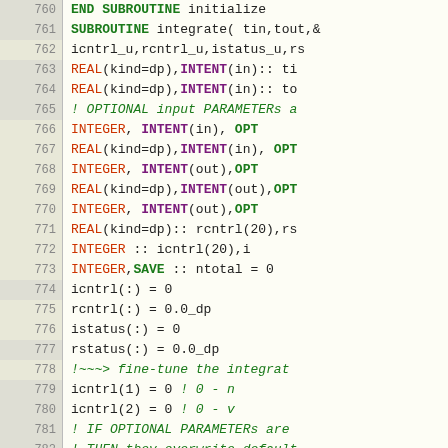Source code listing lines 760-792, Fortran subroutine integrate